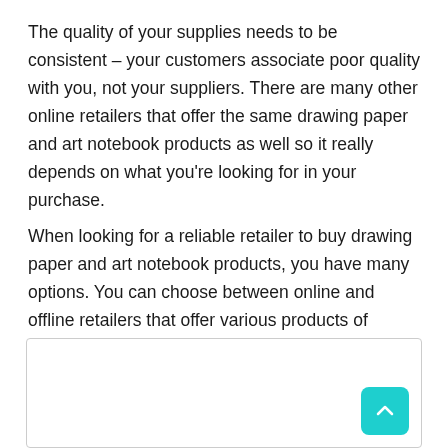The quality of your supplies needs to be consistent – your customers associate poor quality with you, not your suppliers. There are many other online retailers that offer the same drawing paper and art notebook products as well so it really depends on what you're looking for in your purchase.
When looking for a reliable retailer to buy drawing paper and art notebook products, you have many options. You can choose between online and offline retailers that offer various products of different qualities.
[Figure (other): A bordered box at the bottom of the page with a teal/cyan scroll-to-top button in the bottom-right corner showing an upward arrow.]